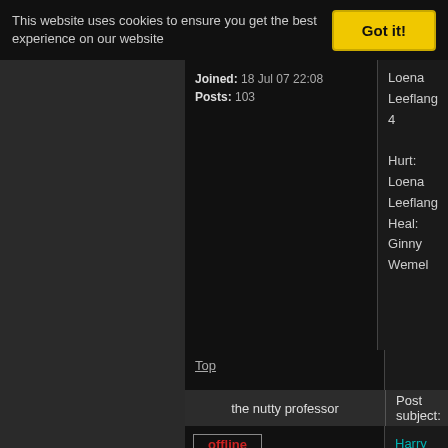This website uses cookies to ensure you get the best experience on our website
Got it!
Joined: 18 Jul 07 22:08
Posts: 103
Loena Leeflang 4

Hurt: Loena Leeflang
Heal: Ginny Wemel
Top
the nutty professor
Post subject:
offline
5e jaars leerling
[Figure (photo): Broken photobucket image placeholder]
YIM
profile
Joined: 14 Jun 07 21:12
Posts: 164
Harry Potter 10
Ron Wemel 18
Hermelien Griffel 16
Ginny Wemel 18
Loena Leeflang 6

Hurt: Ginny Wemel
Heal: Loena Leeflang
Domkop! Blubber! Klein
dank u
(Mensen als ik soms bo